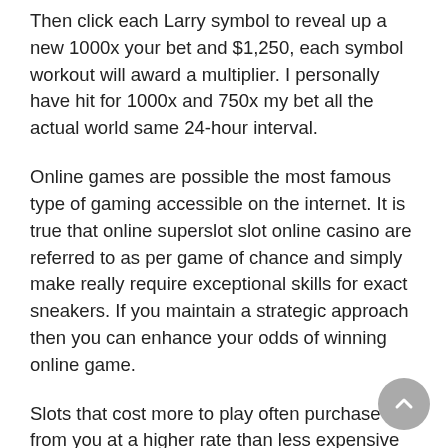Then click each Larry symbol to reveal up a new 1000x your bet and $1,250, each symbol workout will award a multiplier. I personally have hit for 1000x and 750x my bet all the actual world same 24-hour interval.
Online games are possible the most famous type of gaming accessible on the internet. It is true that online superslot slot online casino are referred to as per game of chance and simply make really require exceptional skills for exact sneakers. If you maintain a strategic approach then you can enhance your odds of winning online game.
Slots that cost more to play often purchase from you at a higher rate than less expensive